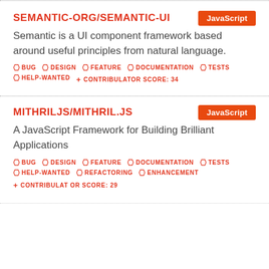SEMANTIC-ORG/SEMANTIC-UI
Semantic is a UI component framework based around useful principles from natural language.
BUG  DESIGN  FEATURE  DOCUMENTATION  TESTS
HELP-WANTED  + CONTRIBULATOR SCORE: 34
MITHRILJS/MITHRIL.JS
A JavaScript Framework for Building Brilliant Applications
BUG  DESIGN  FEATURE  DOCUMENTATION  TESTS
HELP-WANTED  REFACTORING  ENHANCEMENT
+ CONTRIBULAT OR SCORE: 29